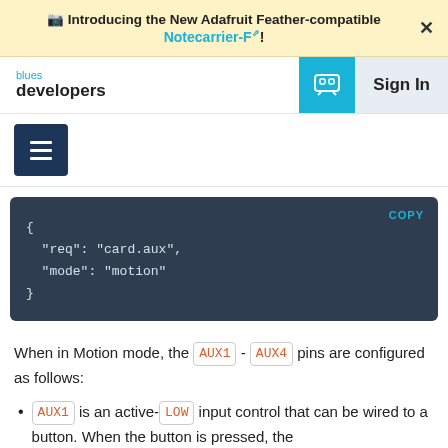🔔 Introducing the New Adafruit Feather-compatible Notecarrier-F!
[Figure (screenshot): Blues developers navigation bar with chat icon and Sign In button]
[Figure (screenshot): Hamburger menu button (3 horizontal lines) on dark navy background]
{
  "req": "card.aux",
  "mode": "motion"
}
When in Motion mode, the AUX1 - AUX4 pins are configured as follows:
AUX1 is an active-LOW input control that can be wired to a button. When the button is pressed, the